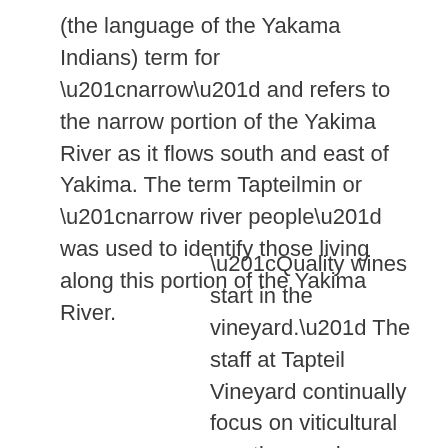(the language of the Yakama Indians) term for “narrow” and refers to the narrow portion of the Yakima River as it flows south and east of Yakima. The term Tapteilmin or “narrow river people” was used to identify those living along this portion of the Yakima River.
“Quality wines start in the vineyard.” The staff at Tapteil Vineyard continually focus on viticultural practices and techniques affecting grape quality canopy management.